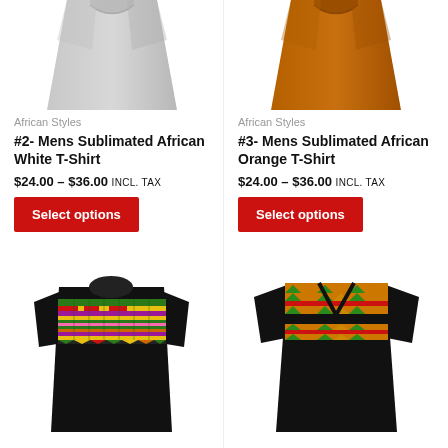[Figure (photo): Grey t-shirt top portion cropped, showing collar and upper body area]
African Styles
#2- Mens Sublimated African White T-Shirt
$24.00 – $36.00 incl. TAX
Select options
[Figure (photo): Orange t-shirt top portion cropped, showing collar and upper body area]
African Styles
#3- Mens Sublimated African Orange T-Shirt
$24.00 – $36.00 incl. TAX
Select options
[Figure (photo): Black t-shirt with African kente cloth pattern on chest/shoulder area in green, yellow, red, purple stripes]
[Figure (photo): Black v-neck t-shirt with African kente cloth pattern on chest in yellow, green, orange triangular pattern]